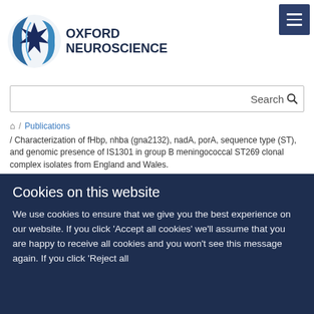[Figure (logo): Oxford Neuroscience logo with circular brain/neuron graphic and text 'OXFORD NEUROSCIENCE']
Search
⌂ / Publications / Characterization of fHbp, nhba (gna2132), nadA, porA, sequence type (ST), and genomic presence of IS1301 in group B meningococcal ST269 clonal complex isolates from England and Wales.
Characterization of fHbp, nhba (gna2132)...
Cookies on this website
We use cookies to ensure that we give you the best experience on our website. If you click 'Accept all cookies' we'll assume that you are happy to receive all cookies and you won't see this message again. If you click 'Reject all